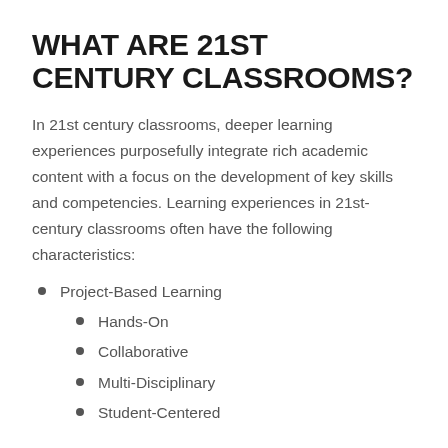WHAT ARE 21ST CENTURY CLASSROOMS?
In 21st century classrooms, deeper learning experiences purposefully integrate rich academic content with a focus on the development of key skills and competencies. Learning experiences in 21st-century classrooms often have the following characteristics:
Project-Based Learning
Hands-On
Collaborative
Multi-Disciplinary
Student-Centered